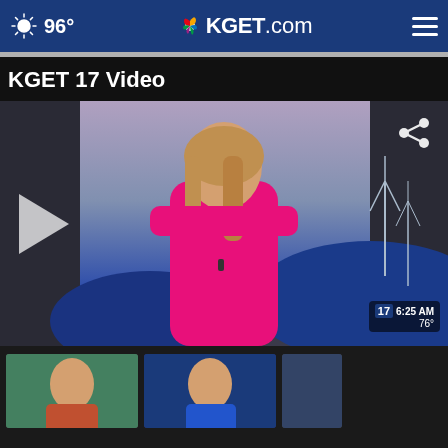96° KGET.com
KGET 17 Video
[Figure (screenshot): Video player thumbnail showing a female news anchor in a bright pink sleeveless top standing in front of a studio background with wind turbines. A white play button is visible on the left, a share icon in the top right, and a channel bug showing '17 6:25 AM 76°' in the bottom right.]
[Figure (screenshot): Partial thumbnail of a video showing a female anchor, partially visible.]
[Figure (screenshot): Partial thumbnail of a video showing a news anchor with a blue background.]
[Figure (screenshot): Partial thumbnail of a third video, mostly cropped.]